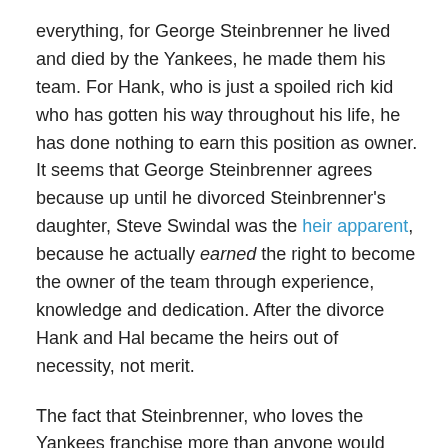everything, for George Steinbrenner he lived and died by the Yankees, he made them his team. For Hank, who is just a spoiled rich kid who has gotten his way throughout his life, he has done nothing to earn this position as owner. It seems that George Steinbrenner agrees because up until he divorced Steinbrenner's daughter, Steve Swindal was the heir apparent, because he actually earned the right to become the owner of the team through experience, knowledge and dedication. After the divorce Hank and Hal became the heirs out of necessity, not merit.
The fact that Steinbrenner, who loves the Yankees franchise more than anyone would NOT want to give his team automatically to his sons says more than anything else. They were the last option and it has become pretty clear why.